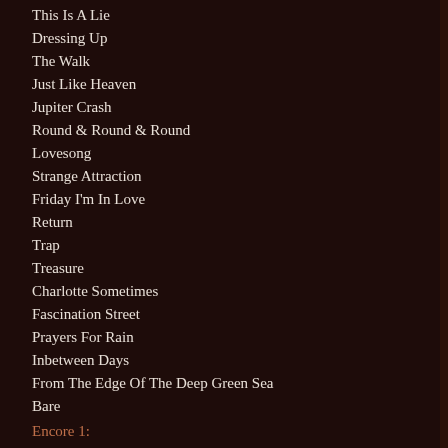This Is A Lie
Dressing Up
The Walk
Just Like Heaven
Jupiter Crash
Round & Round & Round
Lovesong
Strange Attraction
Friday I'm In Love
Return
Trap
Treasure
Charlotte Sometimes
Fascination Street
Prayers For Rain
Inbetween Days
From The Edge Of The Deep Green Sea
Bare
Encore 1:
Catch
Close To Me